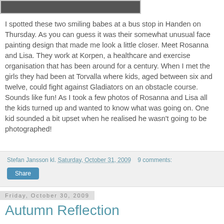[Figure (photo): Partial photo of two people, cropped at top of page]
I spotted these two smiling babes at a bus stop in Handen on Thursday. As you can guess it was their somewhat unusual face painting design that made me look a little closer. Meet Rosanna and Lisa. They work at Korpen, a healthcare and exercise organisation that has been around for a century. When I met the girls they had been at Torvalla where kids, aged between six and twelve, could fight against Gladiators on an obstacle course. Sounds like fun! As I took a few photos of Rosanna and Lisa all the kids turned up and wanted to know what was going on. One kid sounded a bit upset when he realised he wasn't going to be photographed!
Stefan Jansson kl. Saturday, October 31, 2009   9 comments:
Share
Friday, October 30, 2009
Autumn Reflection